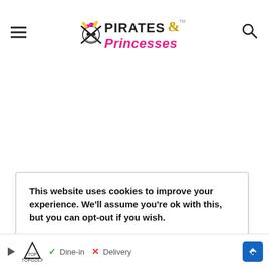Pirates & Princesses
This website uses cookies to improve your experience. We'll assume you're ok with this, but you can opt-out if you wish.
Cookie settings | Accept
[Figure (infographic): Advertisement banner: TopGolf ad with play button, checkmark Dine-in, X Delivery, and blue arrow icon]